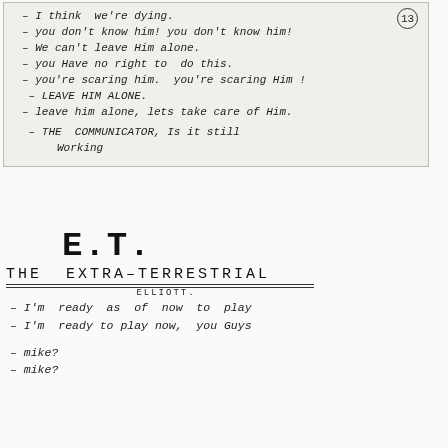13
- I think we're dying.
- you don't know him! you don't know him!
- We can't leave Him alone.
- you Have no right to do this.
- you're scaring him. you're scaring Him!
- LEAVE HIM ALONE.
- Leave him alone, lets take care of Him.
- THE COMMUNICATOR, Is it still Working
E.T.
THE EXTRA-TERRESTRIAL
ELLIOTT.
- I'm ready as of now to play
- I'm ready to play now, you Guys
- mike?
- mike?